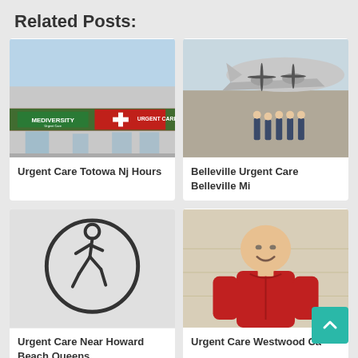Related Posts:
[Figure (photo): Exterior of Mediversity Urgent Care building with red roof and signage]
Urgent Care Totowa Nj Hours
[Figure (photo): Group of people in blue flight suits posing in front of a vintage WWII bomber aircraft on a tarmac]
Belleville Urgent Care Belleville Mi
[Figure (illustration): Stick figure person walking icon inside a circle outline on light gray background]
Urgent Care Near Howard Beach Queens
[Figure (photo): Bald man in red zip-up athletic shirt standing in front of a light-colored wall, smiling]
Urgent Care Westwood Ca